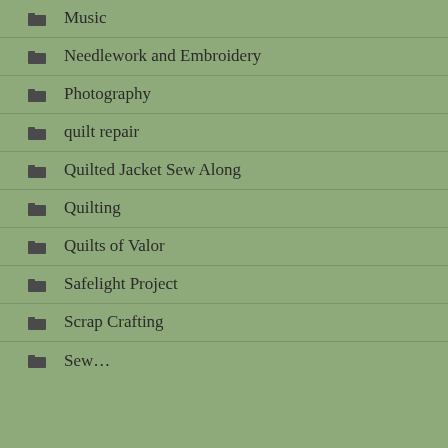Music
Needlework and Embroidery
Photography
quilt repair
Quilted Jacket Sew Along
Quilting
Quilts of Valor
Safelight Project
Scrap Crafting
Sew…